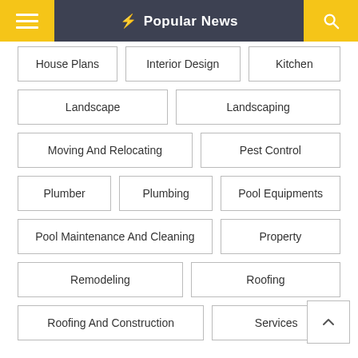Popular News
House Plans
Interior Design
Kitchen
Landscape
Landscaping
Moving And Relocating
Pest Control
Plumber
Plumbing
Pool Equipments
Pool Maintenance And Cleaning
Property
Remodeling
Roofing
Roofing And Construction
Services